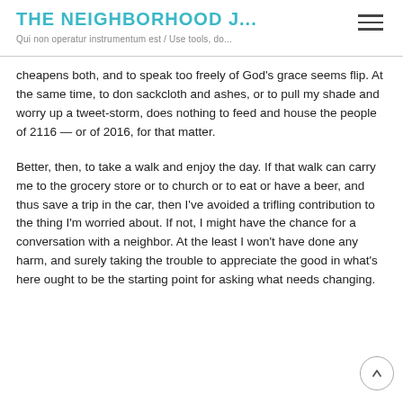THE NEIGHBORHOOD J... / Qui non operatur instrumentum est / Use tools, do...
cheapens both, and to speak too freely of God’s grace seems flip. At the same time, to don sackcloth and ashes, or to pull my shade and worry up a tweet-storm, does nothing to feed and house the people of 2116 — or of 2016, for that matter.
Better, then, to take a walk and enjoy the day. If that walk can carry me to the grocery store or to church or to eat or have a beer, and thus save a trip in the car, then I’ve avoided a trifling contribution to the thing I’m worried about. If not, I might have the chance for a conversation with a neighbor. At the least I won’t have done any harm, and surely taking the trouble to appreciate the good in what’s here ought to be the starting point for asking what needs changing.